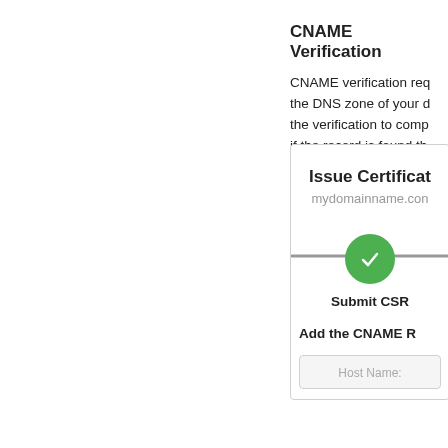CNAME Verification
CNAME verification requires adding a CNAME record to the DNS zone of your domain. You must wait for the verification to complete. The domain will be verified if the record is found there. This process depends on where your domain's DNS is hosted. We recommend using DOMINIO.com.pe
[Figure (screenshot): Issue Certificate wizard step showing domain name 'mydomainname.com', a progress stepper with a green completed checkmark circle, label 'Submit CSR', and a section titled 'Add the CNAME R' with a Host Name field below.]